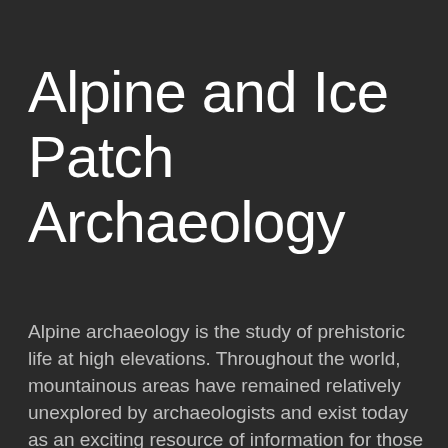Alpine and Ice Patch Archaeology
Alpine archaeology is the study of prehistoric life at high elevations. Throughout the world, mountainous areas have remained relatively unexplored by archaeologists and exist today as an exciting resource of information for those of us interested in the past.  For the past decade, I have conducted research in the mountains of northwestern Wyoming to learn about past life in the alpine zone, and how hunter-gatherers adapted to harsh mountain landscapes. I also work as an archaeological and science photographer and have covered a variety of archaeology projects in remote mountain regions. The following gallery